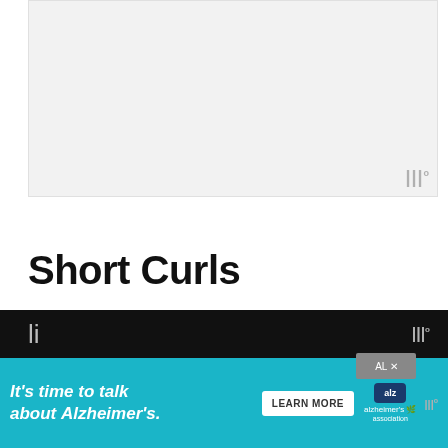[Figure (photo): Light gray placeholder image area representing a hair/curls photo]
Short Curls
The evergreen short length of the hair has the best soft and short curls. The side part and some scrunching at the roots give a li... too
[Figure (screenshot): Advertisement banner: It's time to talk about Alzheimer's. Learn More. Alzheimer's Association logo.]